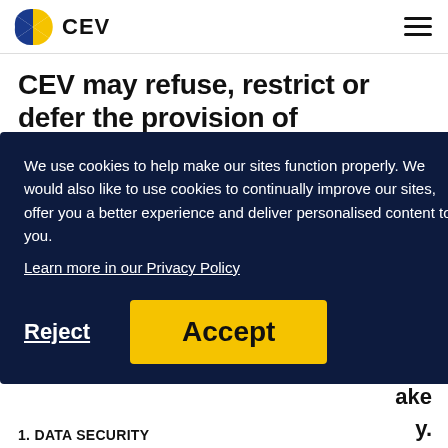CEV
CEV may refuse, restrict or defer the provision of information when it has the right to do so under current data
[Figure (screenshot): Cookie consent overlay with dark navy background. Contains text: 'We use cookies to help make our sites function properly. We would also like to use cookies to continually improve our sites, offer you a better experience and deliver personalised content to you.' A link: 'Learn more in our Privacy Policy'. Two buttons: 'Reject' (text button, underlined) and 'Accept' (yellow button).]
1. DATA SECURITY